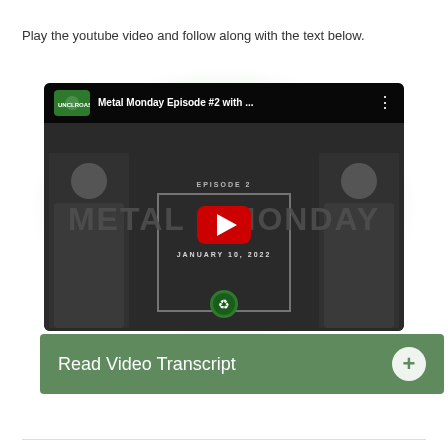Play the youtube video and follow along with the text below.
[Figure (screenshot): YouTube video thumbnail showing Metal Monday Episode #2 with two people seated, text 'EPISODE 2', 'METAL MONDAY', 'JANUARY 10, 2022', a red YouTube play button in the center, green YouTube channel logo top-left, and a recycle earth logo at the bottom center.]
Read Video Transcript